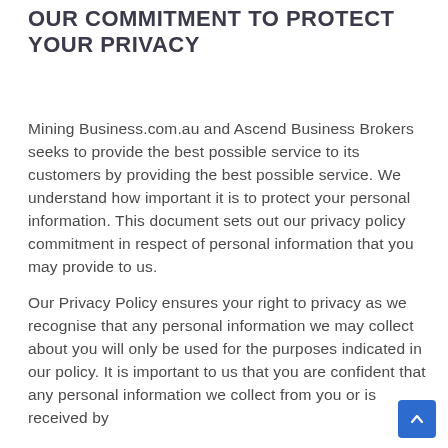OUR COMMITMENT TO PROTECT YOUR PRIVACY
Mining Business.com.au and Ascend Business Brokers seeks to provide the best possible service to its customers by providing the best possible service. We understand how important it is to protect your personal information. This document sets out our privacy policy commitment in respect of personal information that you may provide to us.
Our Privacy Policy ensures your right to privacy as we recognise that any personal information we may collect about you will only be used for the purposes indicated in our policy. It is important to us that you are confident that any personal information we collect from you or is received by